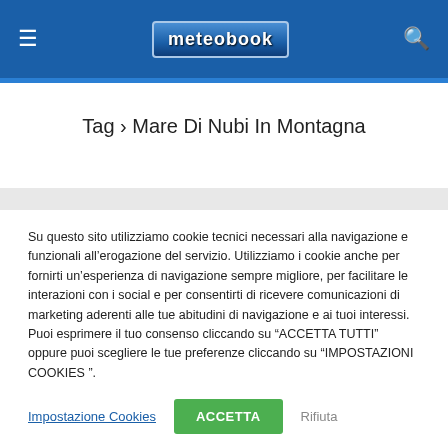meteobook – menu and search navigation header
Tag › Mare Di Nubi In Montagna
Su questo sito utilizziamo cookie tecnici necessari alla navigazione e funzionali all'erogazione del servizio. Utilizziamo i cookie anche per fornirti un'esperienza di navigazione sempre migliore, per facilitare le interazioni con i social e per consentirti di ricevere comunicazioni di marketing aderenti alle tue abitudini di navigazione e ai tuoi interessi. Puoi esprimere il tuo consenso cliccando su "ACCETTA TUTTI" oppure puoi scegliere le tue preferenze cliccando su "IMPOSTAZIONI COOKIES ".
Impostazione Cookies | ACCETTA | Rifiuta